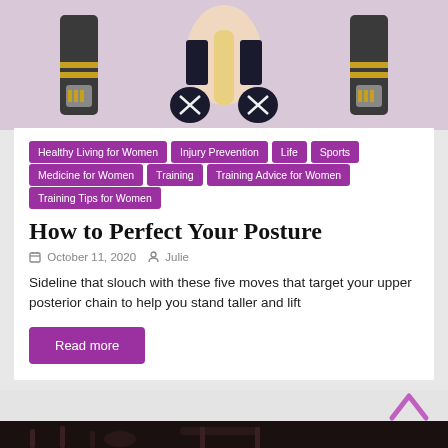[Figure (photo): Woman doing Pilates/exercise on reformer machine, viewed from above, with blonde hair and black workout gear]
Healthy Living for Women
Injury Prevention
Life
Sports Medicine for Women
Training
Training Advice for Women
Training Tips for Women
How to Perfect Your Posture
October 11, 2020   Julie
Sideline that slouch with these five moves that target your upper posterior chain to help you stand taller and lift
Read more
[Figure (photo): Bottom partial image showing gym/exercise equipment in dark setting]